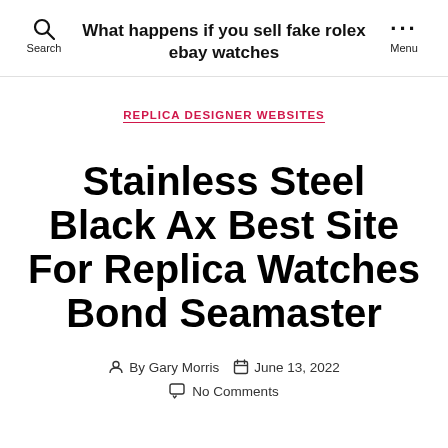What happens if you sell fake rolex ebay watches
REPLICA DESIGNER WEBSITES
Stainless Steel Black Ax Best Site For Replica Watches Bond Seamaster
By Gary Morris  June 13, 2022
No Comments